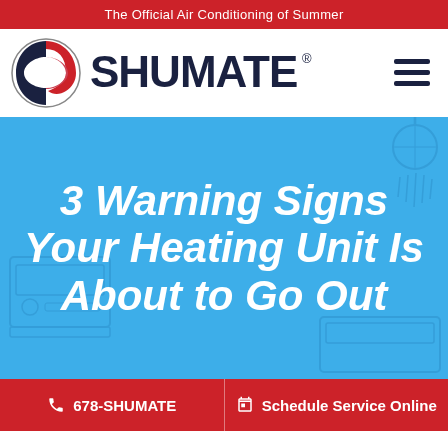The Official Air Conditioning of Summer
[Figure (logo): Shumate logo with circular yin-yang style S emblem in red/dark and SHUMATE® wordmark in dark navy blue, plus hamburger menu icon]
3 Warning Signs Your Heating Unit Is About to Go Out
678-SHUMATE  |  Schedule Service Online